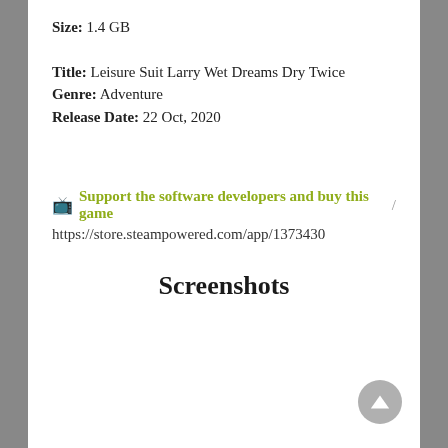Size: 1.4 GB
Title: Leisure Suit Larry Wet Dreams Dry Twice
Genre: Adventure
Release Date: 22 Oct, 2020
🔲 Support the software developers and buy this game 🔲
https://store.steampowered.com/app/1373430
Screenshots